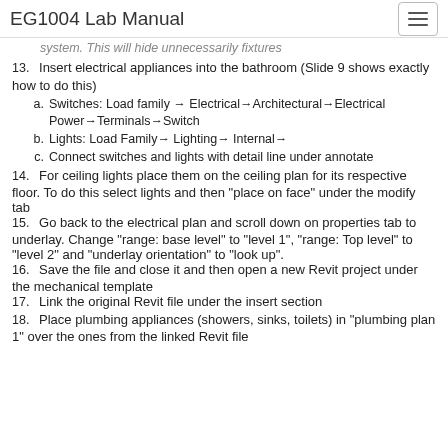EG1004 Lab Manual
system. This will hide unnecessary fixtures
13. Insert electrical appliances into the bathroom (Slide 9 shows exactly how to do this)
  a. Switches: Load family → Electrical→Architectural→Electrical Power→Terminals→Switch
  b. Lights: Load Family→ Lighting→ Internal→
  c. Connect switches and lights with detail line under annotate
14. For ceiling lights place them on the ceiling plan for its respective floor. To do this select lights and then “place on face” under the modify tab
15. Go back to the electrical plan and scroll down on properties tab to underlay. Change “range: base level” to “level 1”, “range: Top level” to “level 2” and “underlay orientation” to “look up”.
16. Save the file and close it and then open a new Revit project under the mechanical template
17. Link the original Revit file under the insert section
18. Place plumbing appliances (showers, sinks, toilets) in “plumbing plan 1” over the ones from the linked Revit file